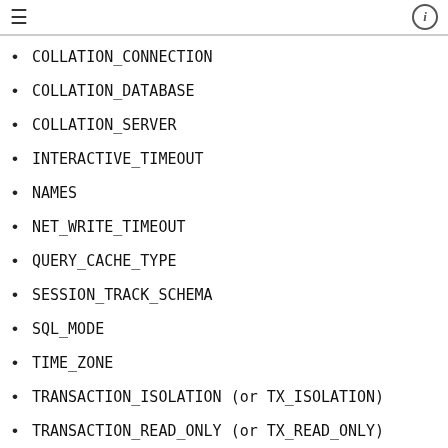COLLATION_CONNECTION
COLLATION_DATABASE
COLLATION_SERVER
INTERACTIVE_TIMEOUT
NAMES
NET_WRITE_TIMEOUT
QUERY_CACHE_TYPE
SESSION_TRACK_SCHEMA
SQL_MODE
TIME_ZONE
TRANSACTION_ISOLATION (or TX_ISOLATION)
TRANSACTION_READ_ONLY (or TX_READ_ONLY)
WAIT_TIMEOUT